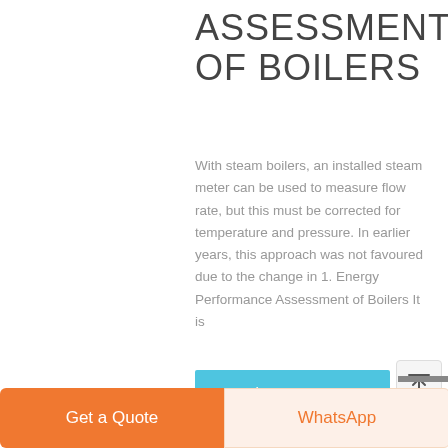ASSESSMENT OF BOILERS
With steam boilers, an installed steam meter can be used to measure flow rate, but this must be corrected for tem-perature and pressure. In earlier years, this approach was not favoured due to the change in 1. Energy Performance Assessment of Boilers It is
[Figure (other): Learn More button - sky blue rectangular button with italic white text 'learn More']
[Figure (other): Scroll-to-top button - light gray rounded square button with upward arrow icon and overline]
[Figure (other): Bottom bar with two buttons: orange 'Get a Quote' button on the left and peach/cream 'WhatsApp' button with orange text on the right]